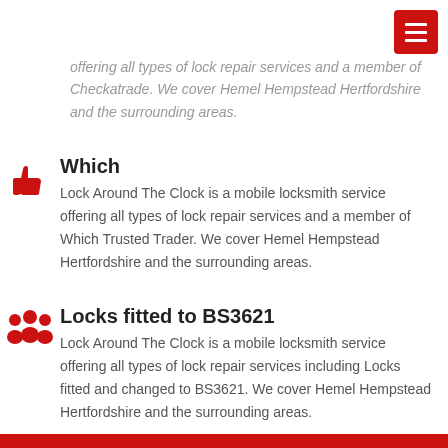offering all types of lock repair services and a member of Checkatrade. We cover Hemel Hempstead Hertfordshire and the surrounding areas.
Which
Lock Around The Clock is a mobile locksmith service offering all types of lock repair services and a member of Which Trusted Trader. We cover Hemel Hempstead Hertfordshire and the surrounding areas.
Locks fitted to BS3621
Lock Around The Clock is a mobile locksmith service offering all types of lock repair services including Locks fitted and changed to BS3621. We cover Hemel Hempstead Hertfordshire and the surrounding areas.